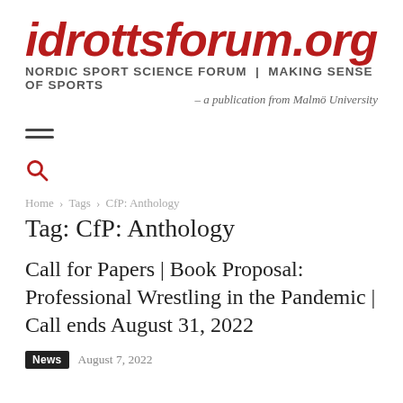idrottsforum.org
NORDIC SPORT SCIENCE FORUM | MAKING SENSE OF SPORTS
– a publication from Malmö University
[Figure (infographic): Hamburger menu icon (three horizontal lines)]
[Figure (infographic): Search magnifying glass icon in red]
Home › Tags › CfP: Anthology
Tag: CfP: Anthology
Call for Papers | Book Proposal: Professional Wrestling in the Pandemic | Call ends August 31, 2022
News  August 7, 2022